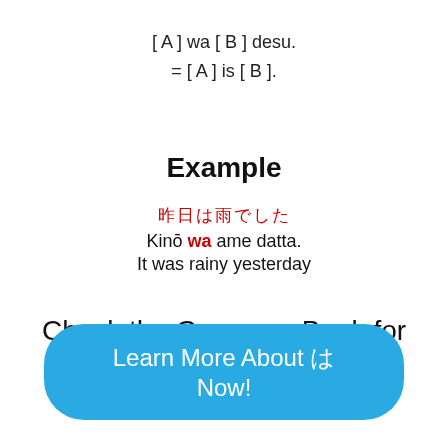Example
昨日は雨でした
Kinō wa ame datta.
It was rainy yesterday
Check the Grammar Bank for More Examples Now
Learn More About は Now!